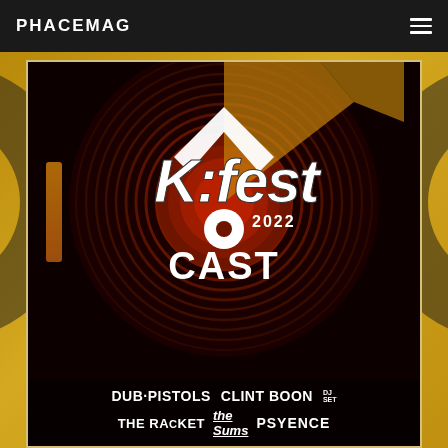PHACEMAG
[Figure (illustration): K:Fest 2022 festival poster featuring the K:Fest logo with graffiti-style lettering, a vinyl record background with concentric red/orange circles, and artist lineup including CAST, DUB PISTOLS, CLINT BOON DJ SET, THE RACKET, THE SUMS, PSYENCE on a dark background. Displayed within a music/media website (PHACEMAG) with gold decorative background.]